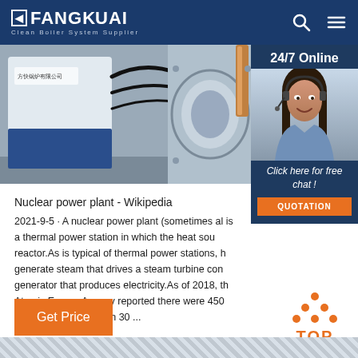FANGKUAI Clean Boiler System Supplier
[Figure (photo): Industrial boiler equipment photo showing a white/grey boiler unit with blue base and machinery components with pipes on the right side]
[Figure (photo): 24/7 Online support agent — woman with headset smiling, with 'Click here for free chat!' text and QUOTATION button]
Nuclear power plant - Wikipedia
2021-9-5 · A nuclear power plant (sometimes also called a nuclear power station, or NPP) is a thermal power station in which the heat source is a nuclear reactor.As is typical of thermal power stations, heat is used to generate steam that drives a steam turbine connected to a generator that produces electricity.As of 2018, the International Atomic Energy Agency reported there were 450 nuclear power reactors in operation in 30 ...
[Figure (other): Get Price orange button]
[Figure (other): TOP scroll-to-top button with orange dots forming triangle above orange TOP text]
[Figure (photo): Bottom strip showing industrial equipment or textured surface]